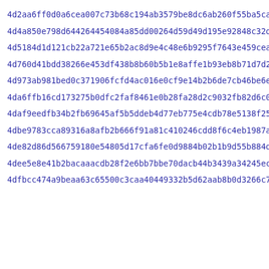4d2aa6ff0d0a6cea007c73b68c194ab3579be8dc6ab260f55ba5caae01957
4d4a850e798d644264454084a85dd00264d59d49d195e92848c32d71956d8
4d5184d1d121cb22a721e65b2ac8d9e4c48e6b9295f7643e459ceac2aad20
4d760d41bdd38266e453df438b8b60b5b1e8affe1b93eb8b71d7d2f650e13
4d973ab981bed0c371906fcfd4ac016e0cf9e14b2b6de7cb46be6e9437953
4da6ffb16cd173275b0dfc2faf8461e0b28fa28d2c9032fb82d6c0944e136
4daf9eedfb34b2fb69645af5b5ddeb4d77eb775e4cdb78e5138f25f1fa33c
4dbe9783cca89316a8afb2b666f91a81c410246cdd8f6c4eb1987a290727e
4de82d86d566759180e54805d17cfa6fe0d9884b02b1b9d55b884dc7dab01
4dee5e8e41b2bacaaacdb28f2e6bb7bbe70dacb44b3439a34245ecab50d80
4dfbcc474a9beaa63c65500c3caa40449332b5d62aab8b0d3266c762a390